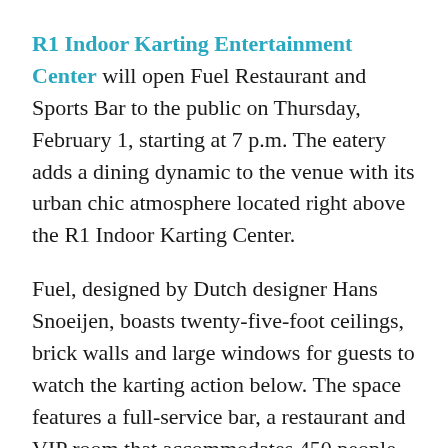R1 Indoor Karting Entertainment Center will open Fuel Restaurant and Sports Bar to the public on Thursday, February 1, starting at 7 p.m. The eatery adds a dining dynamic to the venue with its urban chic atmosphere located right above the R1 Indoor Karting Center.
Fuel, designed by Dutch designer Hans Snoeijen, boasts twenty-five-foot ceilings, brick walls and large windows for guests to watch the karting action below. The space features a full-service bar, a restaurant and VIP room that accommodates 450 people. The restaurant menu will provide options such as bacon-wrapped dates, brick oven pizzas, chicken wings and quinoa salad. Several large flat screen TVs, white bowling lanes and two